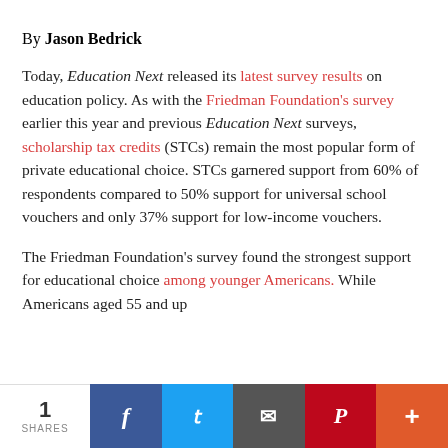By Jason Bedrick
Today, Education Next released its latest survey results on education policy. As with the Friedman Foundation's survey earlier this year and previous Education Next surveys, scholarship tax credits (STCs) remain the most popular form of private educational choice. STCs garnered support from 60% of respondents compared to 50% support for universal school vouchers and only 37% support for low-income vouchers.
The Friedman Foundation's survey found the strongest support for educational choice among younger Americans. While Americans aged 55 and up
1 SHARES | Facebook | Twitter | Email | Pinterest | More